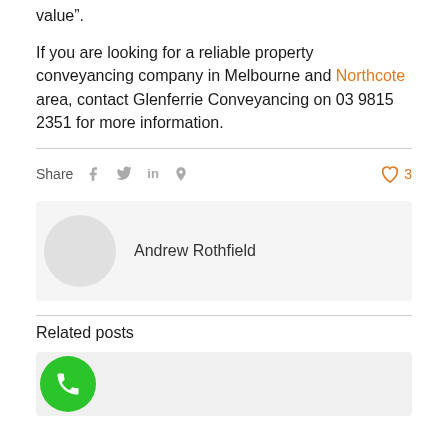value”.
If you are looking for a reliable property conveyancing company in Melbourne and Northcote area, contact Glenferrie Conveyancing on 03 9815 2351 for more information.
Share  [facebook] [twitter] [linkedin] [pinterest]  ♥ 3
Andrew Rothfield
Related posts